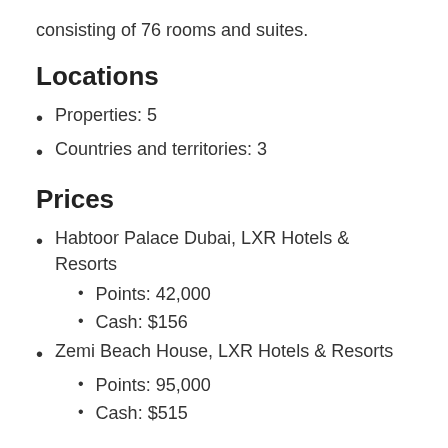consisting of 76 rooms and suites.
Locations
Properties: 5
Countries and territories: 3
Prices
Habtoor Palace Dubai, LXR Hotels & Resorts
Points: 42,000
Cash: $156
Zemi Beach House, LXR Hotels & Resorts
Points: 95,000
Cash: $515